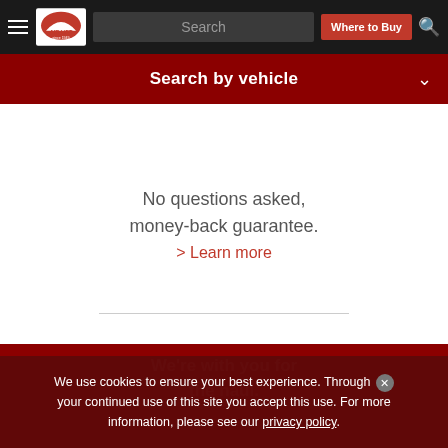Air Lift — Search | Where to Buy
Search by vehicle
No questions asked, money-back guarantee.
> Learn more
We're with you for the haul.
We use cookies to ensure your best experience. Through your continued use of this site you accept this use. For more information, please see our privacy policy.